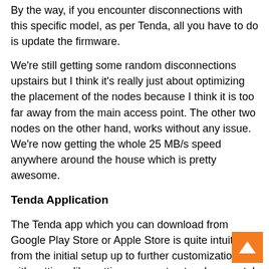By the way, if you encounter disconnections with this specific model, as per Tenda, all you have to do is update the firmware.
We're still getting some random disconnections upstairs but I think it's really just about optimizing the placement of the nodes because I think it is too far away from the main access point. The other two nodes on the other hand, works without any issue. We're now getting the whole 25 MB/s speed anywhere around the house which is pretty awesome.
Tenda Application
The Tenda app which you can download from Google Play Store or Apple Store is quite intuitive from the initial setup up to further customization with settings like setting up guest network, parental control and quality of service. You can also opt to enable fast roaming feature which allows one node hand over clients quickly to another which should lead to